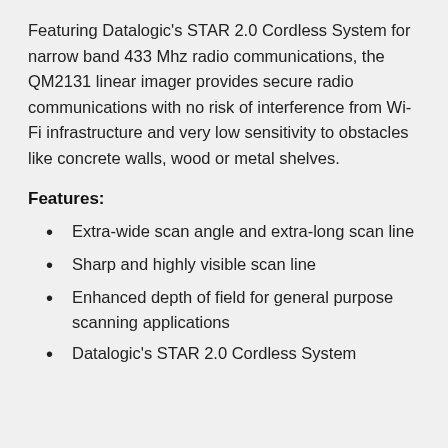Featuring Datalogic's STAR 2.0 Cordless System for narrow band 433 Mhz radio communications, the QM2131 linear imager provides secure radio communications with no risk of interference from Wi-Fi infrastructure and very low sensitivity to obstacles like concrete walls, wood or metal shelves.
Features:
Extra-wide scan angle and extra-long scan line
Sharp and highly visible scan line
Enhanced depth of field for general purpose scanning applications
Datalogic's STAR 2.0 Cordless System